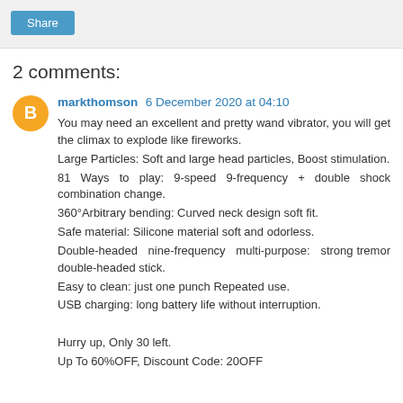Share
2 comments:
markthomson 6 December 2020 at 04:10
You may need an excellent and pretty wand vibrator, you will get the climax to explode like fireworks.
Large Particles: Soft and large head particles, Boost stimulation.
81 Ways to play: 9-speed 9-frequency + double shock combination change.
360°Arbitrary bending: Curved neck design soft fit.
Safe material: Silicone material soft and odorless.
Double-headed nine-frequency multi-purpose: strong tremor double-headed stick.
Easy to clean: just one punch Repeated use.
USB charging: long battery life without interruption.

Hurry up, Only 30 left.
Up To 60%OFF, Discount Code: 20OFF